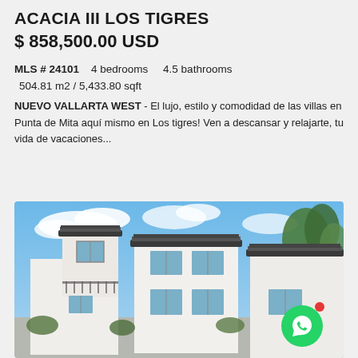ACACIA III LOS TIGRES
$ 858,500.00 USD
MLS # 24101    4 bedrooms    4.5 bathrooms
504.81 m2 / 5,433.80 sqft
NUEVO VALLARTA WEST - El lujo, estilo y comodidad de las villas en Punta de Mita aquí mismo en Los tigres! Ven a descansar y relajarte, tu vida de vacaciones...
[Figure (photo): Exterior rendering of a modern white two-story villa with dark roofline tiles, large windows, balcony railing, blue sky with clouds, and green trees in the background.]